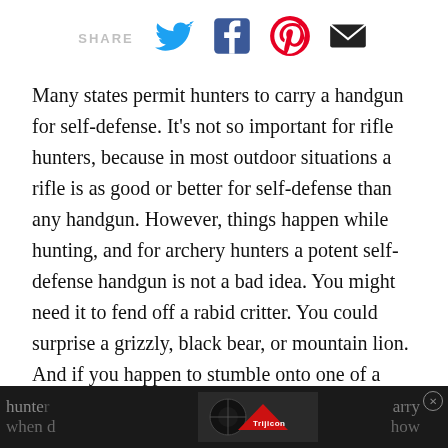SHARE [Twitter] [Facebook] [Pinterest] [Email]
Many states permit hunters to carry a handgun for self-defense. It’s not so important for rifle hunters, because in most outdoor situations a rifle is as good or better for self-defense than any handgun. However, things happen while hunting, and for archery hunters a potent self-defense handgun is not a bad idea. You might need it to fend off a rabid critter. You could surprise a grizzly, black bear, or mountain lion. And if you happen to stumble onto one of a growing number of illicit public-land marijuana fields, you’ll probably be glad to have it. Here are five great options for hunters to carry when d… [how]
[Figure (screenshot): Advertisement banner at bottom: dark background with Trijicon logo (red triangle with white text), flanked by partially visible article text 'hunters ... rry' and 'when d ... how', with a close button (X) in a circle on the right.]